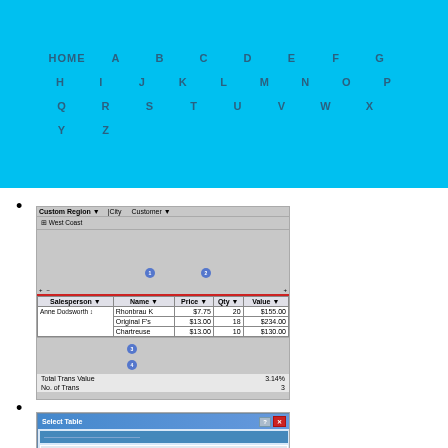HOME A B C D E F G H I J K L M N O P Q R S T U V W X Y Z
[Figure (screenshot): Screenshot of a pivot table or custom region interface showing salesperson Anne Dodsworth with products Rhonbrau K ($7.75, 20, $155.00), Original F's ($13.00, 18, $234.00), Chartreuse ($13.00, 10, $130.00). Total Trans Value 3.14%, No. of Trans 3. Numbered callouts 1-4.]
[Figure (screenshot): Screenshot of a 'Select Table' dialog showing columns Name, Description, Modified, Created with a row selected 'FactSales Query' showing dates 8/7/2011 and 8/17/2011.]